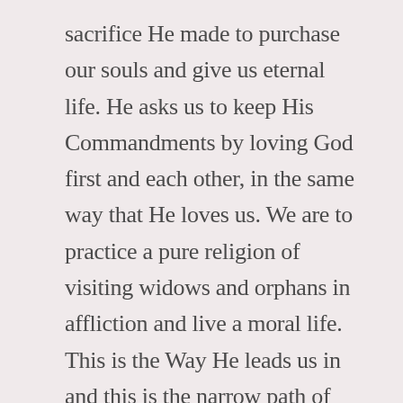sacrifice He made to purchase our souls and give us eternal life. He asks us to keep His Commandments by loving God first and each other, in the same way that He loves us. We are to practice a pure religion of visiting widows and orphans in affliction and live a moral life. This is the Way He leads us in and this is the narrow path of faith His beloved are to walk, as we watch and wait for His return and the appearing of His Kingdom.
I am mindful of all these things as December 25th approaches and on that day, as on every